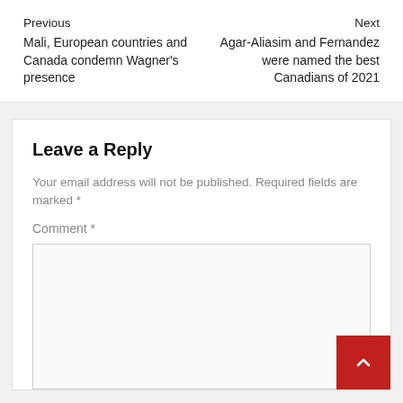Previous
Mali, European countries and Canada condemn Wagner's presence
Next
Agar-Aliasim and Fernandez were named the best Canadians of 2021
Leave a Reply
Your email address will not be published. Required fields are marked *
Comment *